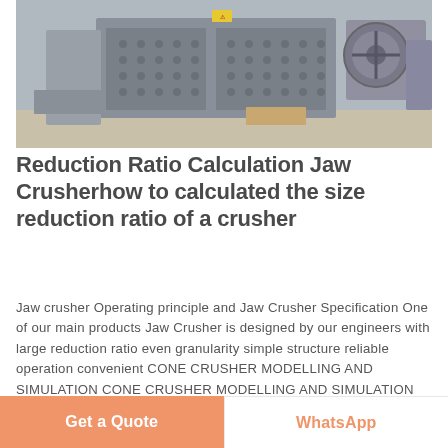[Figure (photo): Industrial jaw crusher / impact crusher machine photographed in a workshop or industrial setting, showing a large grey metal crushing unit with studded crushing plates, belt pulley drive, and metal frame supports]
Reduction Ratio Calculation Jaw Crusherhow to calculated the size reduction ratio of a crusher
Jaw crusher Operating principle and Jaw Crusher Specification One of our main products Jaw Crusher is designed by our engineers with large reduction ratio even granularity simple structure reliable operation convenient CONE CRUSHER MODELLING AND SIMULATION CONE CRUSHER MODELLING AND SIMULATION process and calculate a product particle size distribution from the clusters still unbroken in 41 Size reduction
Get a Quote
WhatsApp